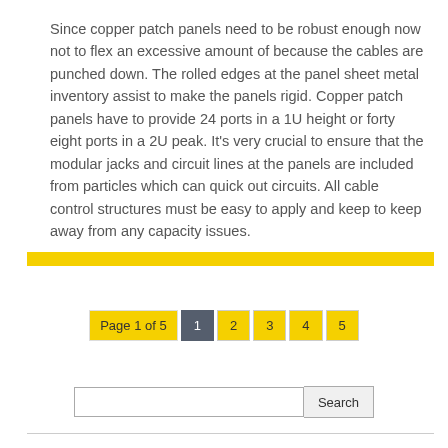Since copper patch panels need to be robust enough now not to flex an excessive amount of because the cables are punched down. The rolled edges at the panel sheet metal inventory assist to make the panels rigid. Copper patch panels have to provide 24 ports in a 1U height or forty eight ports in a 2U peak. It's very crucial to ensure that the modular jacks and circuit lines at the panels are included from particles which can quick out circuits. All cable control structures must be easy to apply and keep to keep away from any capacity issues.
[Figure (other): Yellow horizontal bar separator]
Page 1 of 5  1  2  3  4  5